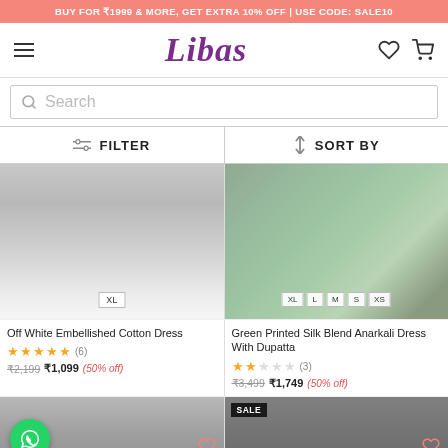BUY FOR ₹1999 & MORE, GET EXTRA 10% OFF | USE CODE: SALE10
[Figure (logo): Libas fashion brand logo with hamburger menu, heart and cart icons]
Search
FILTER   SORT BY
[Figure (photo): Off White Embellished Cotton Dress product image with XL size badge]
[Figure (photo): Green Printed Silk Blend Anarkali Dress With Dupatta product image with XL, L, M, S, XS size badges]
Off White Embellished Cotton Dress
★★★★★ (6)
₹2,199 ₹1,099 (50% off)
Green Printed Silk Blend Anarkali Dress With Dupatta
★½☆☆☆ (3)
₹3,499 ₹1,749 (50% off)
[Figure (photo): Bottom product image left - woman model]
[Figure (photo): Bottom product image right - woman model with SALE badge]